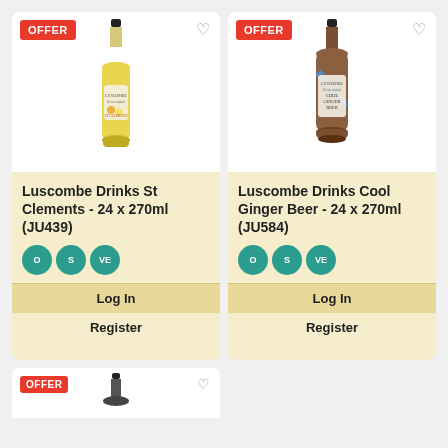[Figure (photo): Luscombe St Clements yellow drink bottle with OFFER badge]
Luscombe Drinks St Clements - 24 x 270ml (JU439)
[Figure (photo): Luscombe Cool Ginger Beer brown bottle with OFFER badge]
Luscombe Drinks Cool Ginger Beer - 24 x 270ml (JU584)
Log In
Register
Log In
Register
[Figure (photo): Partial product card with OFFER badge at bottom]